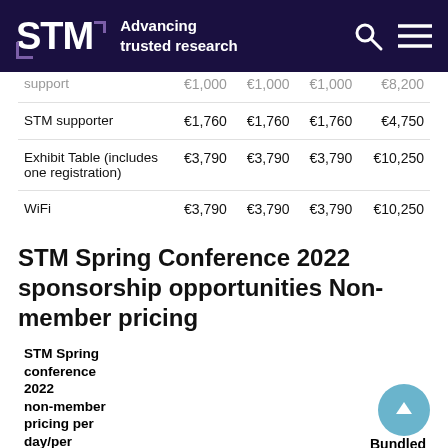STM Advancing trusted research
|  | Tuesday | Wednesday | Thursday | Bundled price |
| --- | --- | --- | --- | --- |
| support | €1,000 | €1,000 | €1,000 | €8,200 |
| STM supporter | €1,760 | €1,760 | €1,760 | €4,750 |
| Exhibit Table (includes one registration) | €3,790 | €3,790 | €3,790 | €10,250 |
| WiFi | €3,790 | €3,790 | €3,790 | €10,250 |
STM Spring Conference 2022 sponsorship opportunities Non-member pricing
| STM Spring conference 2022 non-member pricing per day/per location | Tuesday | Wednesday | Thursday | Bundled price |
| --- | --- | --- | --- | --- |